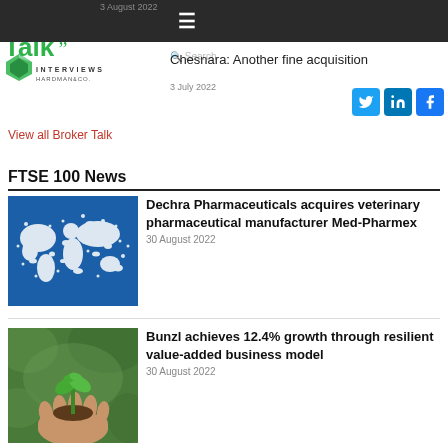Directors Talk Interviews — Hardman & Co
3 August 2022
Chesnara: Another fine acquisition
View all Broker Talk
FTSE 100 News
Dechra Pharmaceuticals acquires veterinary pharmaceutical manufacturer Med-Pharmex
30 August 2022
[Figure (illustration): Blue world map made of white animal silhouettes on blue background]
Bunzl achieves 12.4% growth through resilient value-added business model
30 August 2022
[Figure (photo): Green seedling plant growing from soil held in hands, bokeh background]